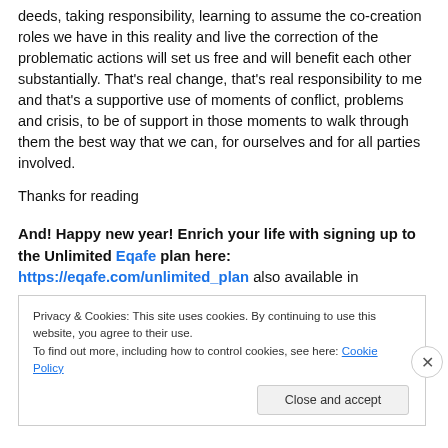deeds, taking responsibility, learning to assume the co-creation roles we have in this reality and live the correction of the problematic actions will set us free and will benefit each other substantially. That's real change, that's real responsibility to me and that's a supportive use of moments of conflict, problems and crisis, to be of support in those moments to walk through them the best way that we can, for ourselves and for all parties involved.
Thanks for reading
And! Happy new year! Enrich your life with signing up to the Unlimited Eqafe plan here: https://eqafe.com/unlimited_plan also available in
Privacy & Cookies: This site uses cookies. By continuing to use this website, you agree to their use.
To find out more, including how to control cookies, see here: Cookie Policy